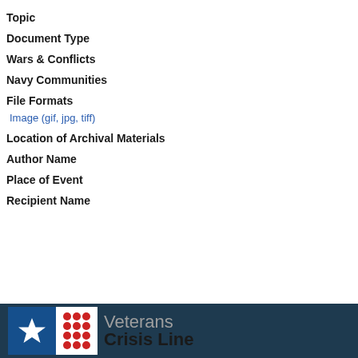Topic
Document Type
Wars & Conflicts
Navy Communities
File Formats
Image (gif, jpg, tiff)
Location of Archival Materials
Author Name
Place of Event
Recipient Name
[Figure (logo): Veterans Crisis Line banner with blue background, star icon, red dots grid, and 'Veterans Crisis Line' text]